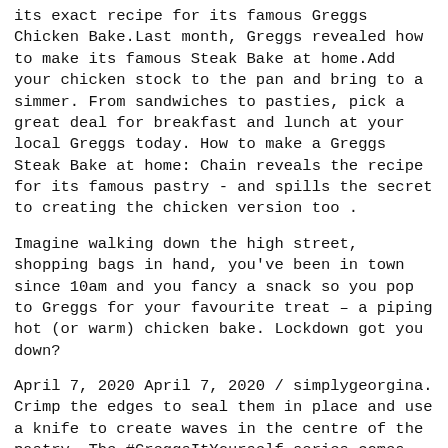its exact recipe for its famous Greggs Chicken Bake.Last month, Greggs revealed how to make its famous Steak Bake at home.Add your chicken stock to the pan and bring to a simmer. From sandwiches to pasties, pick a great deal for breakfast and lunch at your local Greggs today. How to make a Greggs Steak Bake at home: Chain reveals the recipe for its famous pastry - and spills the secret to creating the chicken version too .
Imagine walking down the high street, shopping bags in hand, you've been in town since 10am and you fancy a snack so you pop to Greggs for your favourite treat – a piping hot (or warm) chicken bake. Lockdown got you down?
April 7, 2020 April 7, 2020 / simplygeorgina. Crimp the edges to seal them in place and use a knife to create waves in the centre of the pastry. The #GreggsItYourself series comes out every Wednesday, with fans encouraged to follow along and post pictures of their creations on social media.Lots of